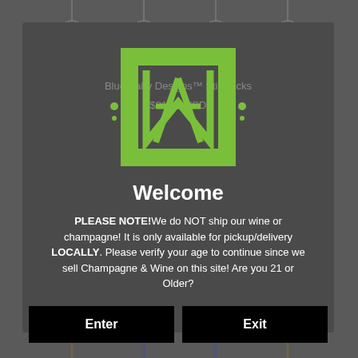[Figure (logo): TM monogram logo in green with overlapping T and M letters]
Blue Baby Designs™ Stir Sticks
$21.00 USD
Welcome
PLEASE NOTE!We do NOT ship our wine or champagne! It is only available for pickup/delivery LOCALLY. Please verify your age to continue since we sell Champagne & Wine on this site! Are you 21 or Older?
Enter
Exit